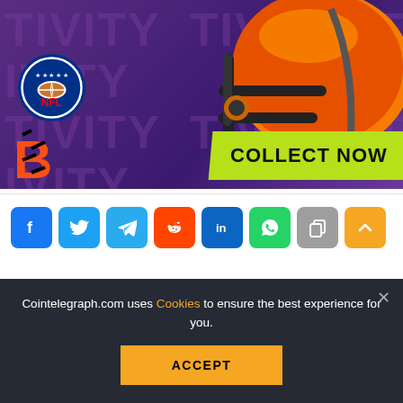[Figure (photo): NFL Bengals promotional banner with orange football helmet on purple background, NFL shield logo, Cincinnati Bengals logo, and 'COLLECT NOW' button in lime green]
[Figure (infographic): Social sharing icons row: Facebook, Twitter, Telegram, Reddit, LinkedIn, WhatsApp, Copy, Scroll-to-top]
Cointelegraph.com uses Cookies to ensure the best experience for you.
ACCEPT